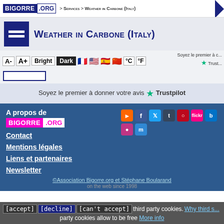BIGORRE .ORG > Services > Weather in Carbone (Italy)
Weather in Carbone (Italy)
A-  A+  Bright  Dark  °C  °F
Soyez le premier à donner votre avis ★ Trustpilot
A propos de BIGORRE .ORG
Contact
Mentions légales
Liens et partenaires
Newsletter
©Association Bigorre.org et Stéphane Boularand
on the web since 1998
[accept] [decline] [can't accept] third party cookies. Why third party cookies allow to be free More info